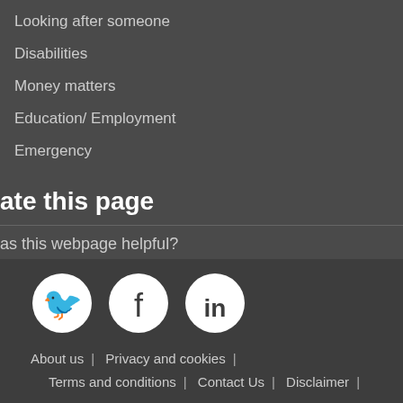Looking after someone
Disabilities
Money matters
Education/ Employment
Emergency
ate this page
as this webpage helpful?
[Figure (illustration): Three emoji feedback buttons: green smiley face, orange neutral face, red sad face]
[Figure (illustration): Social media icons: Twitter, Facebook, LinkedIn]
About us | Privacy and cookies | Terms and conditions | Contact Us | Disclaimer |